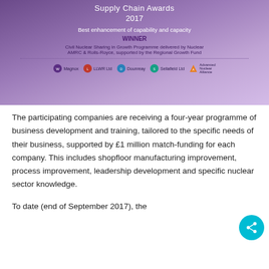[Figure (other): Award banner for Supply Chain Awards 2017 – Best enhancement of capability and capacity. WINNER: Civil Nuclear Sharing in Growth Programme delivered by Nuclear AMRC & Rolls-Royce, supported by the Regional Growth Fund. Sponsor logos: Magnox, LLW Ltd, Dounreay, Sellafield Ltd, Advanced Nuclear Alliance.]
The participating companies are receiving a four-year programme of business development and training, tailored to the specific needs of their business, supported by £1 million match-funding for each company. This includes shopfloor manufacturing improvement, process improvement, leadership development and specific nuclear sector knowledge.
To date (end of September 2017), the participating companies reported that...